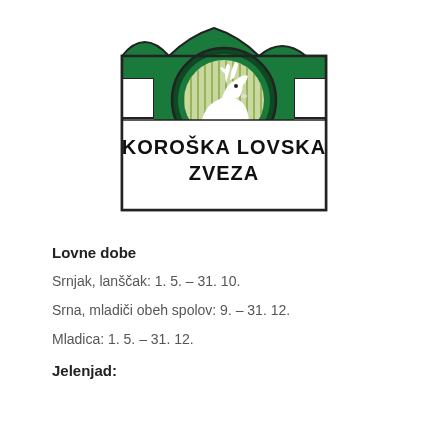[Figure (logo): Koroška Lovska Zveza logo: green emblem with mountain silhouette at top, circular medallion with chamois/deer head, white lower section with bold text 'KOROŠKA LOVSKA ZVEZA']
Lovne dobe
Srnjak, lanščak: 1. 5. – 31. 10.
Srna, mladiči obeh spolov: 9. – 31. 12.
Mladica: 1. 5. – 31. 12.
Jelenjad: